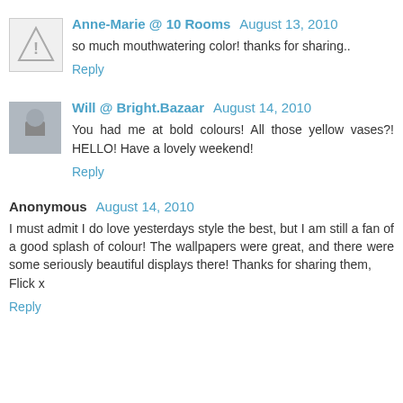Anne-Marie @ 10 Rooms  August 13, 2010
so much mouthwatering color! thanks for sharing..
Reply
Will @ Bright.Bazaar  August 14, 2010
You had me at bold colours! All those yellow vases?! HELLO! Have a lovely weekend!
Reply
Anonymous  August 14, 2010
I must admit I do love yesterdays style the best, but I am still a fan of a good splash of colour! The wallpapers were great, and there were some seriously beautiful displays there! Thanks for sharing them,
Flick x
Reply